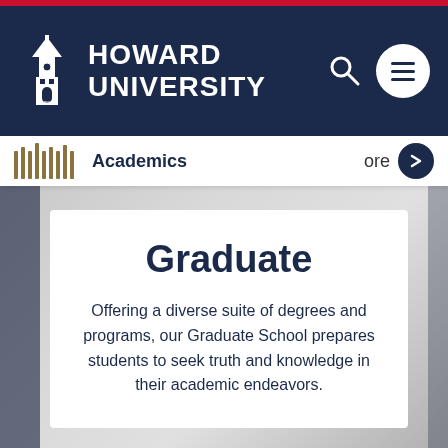[Figure (logo): Howard University logo with clock tower building icon and university name in white on navy background]
Howard University
Academics
Graduate
Offering a diverse suite of degrees and programs, our Graduate School prepares students to seek truth and knowledge in their academic endeavors.